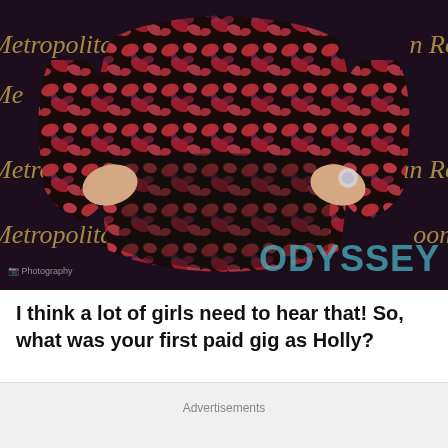[Figure (photo): A person wearing a red and black floral patterned bodysuit/jumpsuit, posing with hands on hips in front of a dark Metropolitan Room event backdrop. The Odyssey watermark is visible in the lower right of the image.]
I think a lot of girls need to hear that! So, what was your first paid gig as Holly?
Advertisements